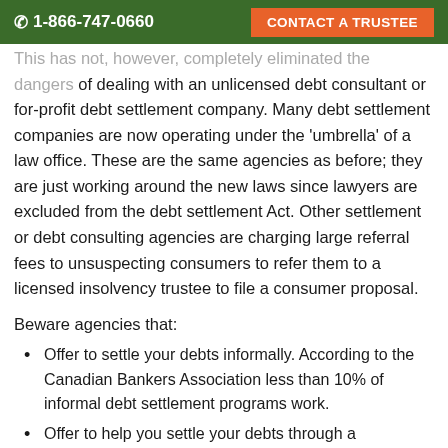☎ 1-866-747-0660   CONTACT A TRUSTEE
This has not, however, completely eliminated the dangers of dealing with an unlicensed debt consultant or for-profit debt settlement company. Many debt settlement companies are now operating under the 'umbrella' of a law office. These are the same agencies as before; they are just working around the new laws since lawyers are excluded from the debt settlement Act. Other settlement or debt consulting agencies are charging large referral fees to unsuspecting consumers to refer them to a licensed insolvency trustee to file a consumer proposal.
Beware agencies that:
Offer to settle your debts informally. According to the Canadian Bankers Association less than 10% of informal debt settlement programs work.
Offer to help you settle your debts through a